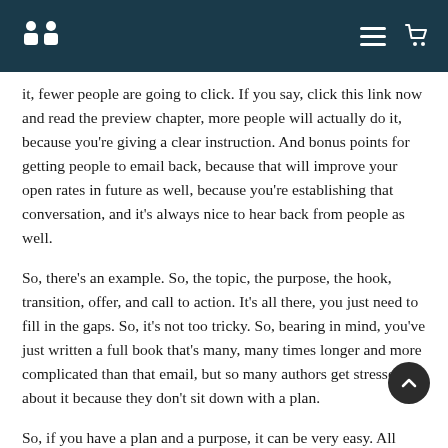Header bar with logo and navigation icons
it, fewer people are going to click. If you say, click this link now and read the preview chapter, more people will actually do it, because you're giving a clear instruction. And bonus points for getting people to email back, because that will improve your open rates in future as well, because you're establishing that conversation, and it's always nice to hear back from people as well.
So, there's an example. So, the topic, the purpose, the hook, transition, offer, and call to action. It's all there, you just need to fill in the gaps. So, it's not too tricky. So, bearing in mind, you've just written a full book that's many, many times longer and more complicated than that email, but so many authors get stressed about it because they don't sit down with a plan.
So, if you have a plan and a purpose, it can be very easy. All